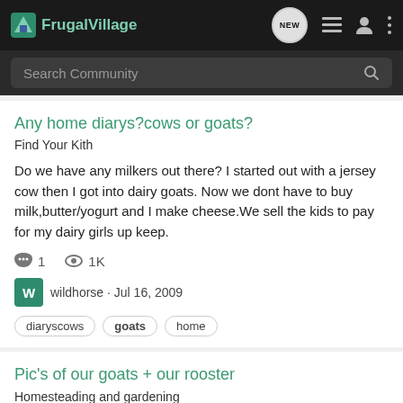FrugalVillage
Search Community
Any home diarys?cows or goats?
Find Your Kith
Do we have any milkers out there? I started out with a jersey cow then I got into dairy goats. Now we dont have to buy milk,butter/yogurt and I make cheese.We sell the kids to pay for my dairy girls up keep.
1  1K
wildhorse · Jul 16, 2009
diaryscows  goats  home
Pic's of our goats + our rooster
Homesteading and gardening